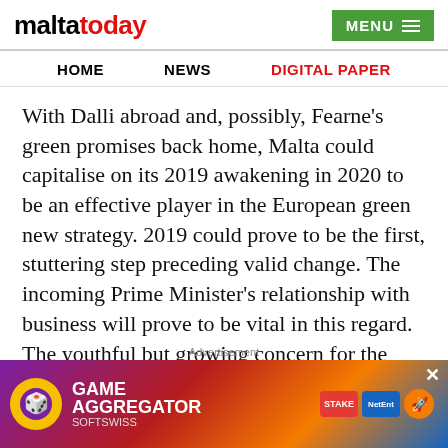maltatoday | MENU
HOME  NEWS  DIGITAL PAPER
With Dalli abroad and, possibly, Fearne's green promises back home, Malta could capitalise on its 2019 awakening in 2020 to be an effective player in the European green new strategy. 2019 could prove to be the first, stuttering step preceding valid change. The incoming Prime Minister's relationship with business will prove to be vital in this regard. The youthful but growing concern for the environment should shape policy and compel businesses and large companies to be in line with the EU's Energy Efficiency Directive at the very least if Mal...
[Figure (advertisement): Game Aggregator Softswiss advertisement banner with colorful casino game logos]